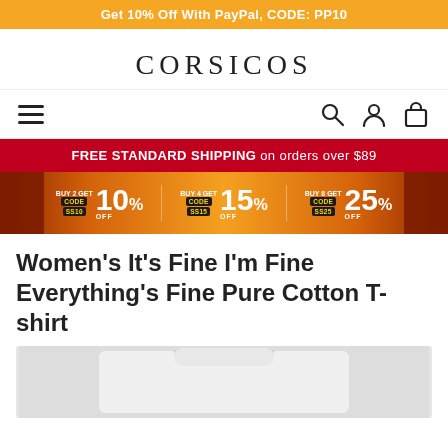Get 10% Off With PayPal, CODE: PP10
CORSICOS
[Figure (infographic): Navigation bar with hamburger menu icon on left and search, account, and cart icons on right]
FREE STANDARD SHIPPING on orders over $89
[Figure (infographic): Discount banner showing: BUY 2 GET CODE SS10 10% OFF, BUY 4 GET CODE SS15 15% OFF, BUY 8 GET CODE SS25 25% OFF on orange/autumn background]
Women's It's Fine I'm Fine Everything's Fine Pure Cotton T-shirt
[Figure (photo): White cotton t-shirt product photo on light background]